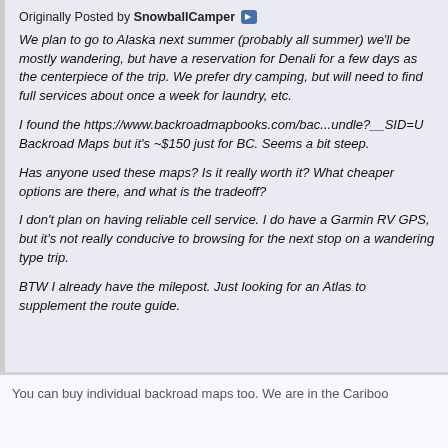Originally Posted by SnowballCamper ▶
We plan to go to Alaska next summer (probably all summer) we'll be mostly wandering, but have a reservation for Denali for a few days as the centerpiece of the trip. We prefer dry camping, but will need to find full services about once a week for laundry, etc.

I found the https://www.backroadmapbooks.com/bac...undle?__SID=U Backroad Maps but it's ~$150 just for BC. Seems a bit steep.

Has anyone used these maps? Is it really worth it? What cheaper options are there, and what is the tradeoff?

I don't plan on having reliable cell service. I do have a Garmin RV GPS, but it's not really conducive to browsing for the next stop on a wandering type trip.

BTW I already have the milepost. Just looking for an Atlas to supplement the route guide.
You can buy individual backroad maps too. We are in the Cariboo